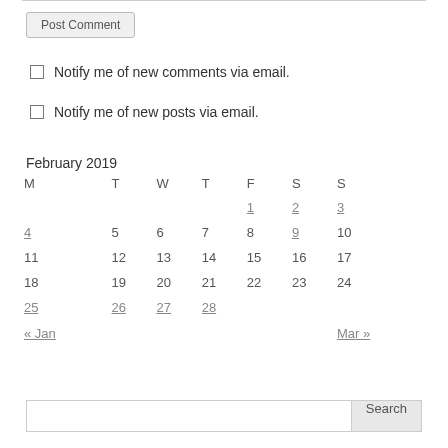Post Comment
Notify me of new comments via email.
Notify me of new posts via email.
February 2019
| M | T | W | T | F | S | S |
| --- | --- | --- | --- | --- | --- | --- |
|  |  |  |  | 1 | 2 | 3 |
| 4 | 5 | 6 | 7 | 8 | 9 | 10 |
| 11 | 12 | 13 | 14 | 15 | 16 | 17 |
| 18 | 19 | 20 | 21 | 22 | 23 | 24 |
| 25 | 26 | 27 | 28 |  |  |  |
| « Jan |  |  |  |  |  | Mar » |
Search